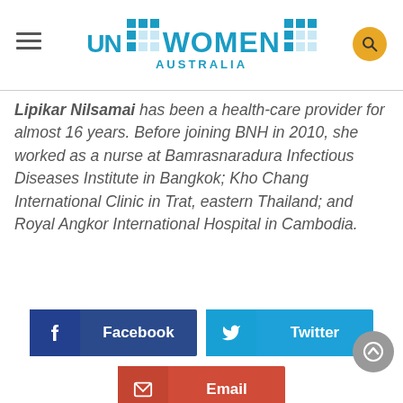[Figure (logo): UN Women Australia logo with hamburger menu icon on left and search button on right]
Lipikar Nilsamai has been a health-care provider for almost 16 years. Before joining BNH in 2010, she worked as a nurse at Bamrasnaradura Infectious Diseases Institute in Bangkok; Kho Chang International Clinic in Trat, eastern Thailand; and Royal Angkor International Hospital in Cambodia.
[Figure (infographic): Share buttons: Facebook (dark blue), Twitter (light blue), Email (red)]